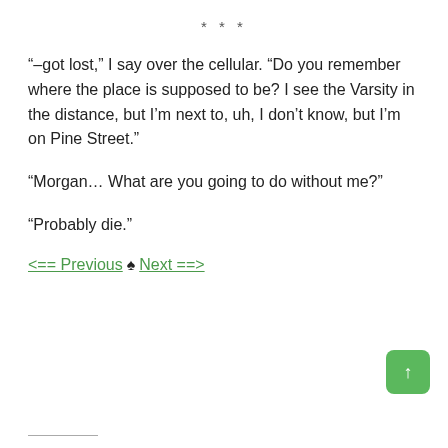***
“–got lost,” I say over the cellular. “Do you remember where the place is supposed to be? I see the Varsity in the distance, but I’m next to, uh, I don’t know, but I’m on Pine Street.”
“Morgan… What are you going to do without me?”
“Probably die.”
<== Previous ♠ Next ==>